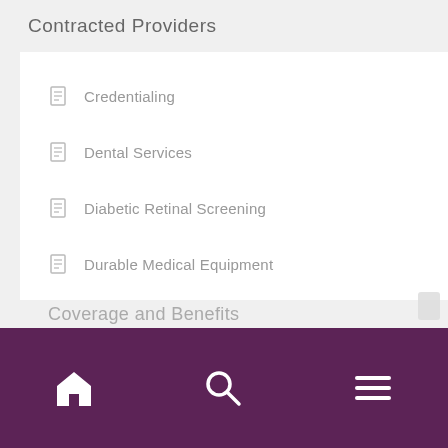Contracted Providers
Credentialing
Dental Services
Diabetic Retinal Screening
Durable Medical Equipment
Home Health Services
Home Infusion Therapy
Orthotics and Prosthetics
Primary Care
Radiation Oncology
Coverage and Benefits
Home | Search | Menu navigation bar